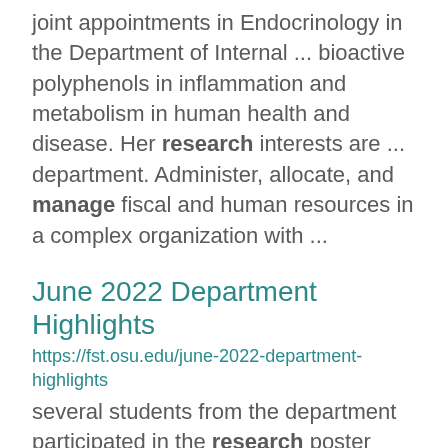joint appointments in Endocrinology in the Department of Internal ... bioactive polyphenols in inflammation and metabolism in human health and disease. Her research interests are ... department. Administer, allocate, and manage fiscal and human resources in a complex organization with ...
June 2022 Department Highlights
https://fst.osu.edu/june-2022-department-highlights
several students from the department participated in the research poster competition. Congratulations to ... Brianda